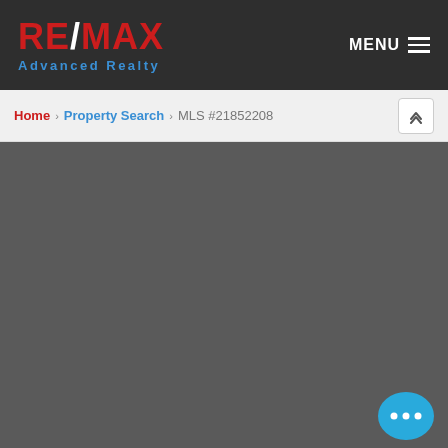[Figure (logo): RE/MAX Advanced Realty logo in red and white with blue subtitle on dark background]
MENU
Home > Property Search > MLS #21852208
[Figure (other): Dark grey content area with chat support bubble icon in bottom right corner]